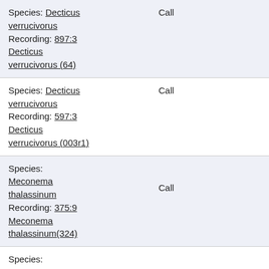Species: Decticus verrucivorus Recording: 897:3 Call Decticus verrucivorus (64)
Species: Decticus verrucivorus Recording: 597:3 Call Decticus verrucivorus (003r1)
Species: Meconema thalassinum Recording: 375:9 Call Meconema thalassinum(324)
Species: Chorthippus Chorthippus dorsatus Recording: 421:8 Call Chorthippus dorsatus(500+)